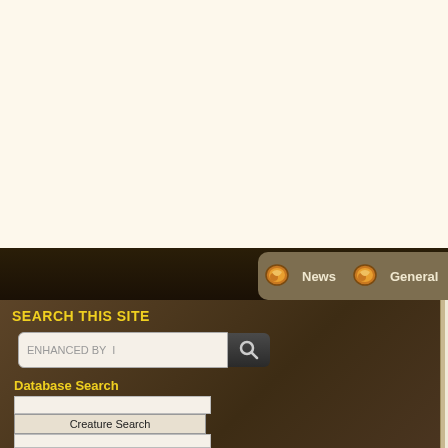News | General | Professions
SEARCH THIS SITE
ENHANCED BY
Database Search
Creature Search
A Siege Perilous Poem by Kattasrophe
May